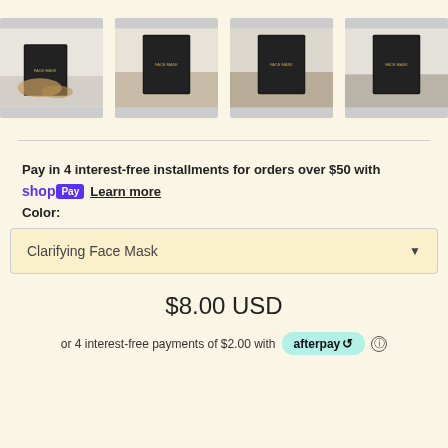[Figure (photo): Four product thumbnail images of black face mask packets shown from different angles, displayed in a row against a cream background]
Pay in 4 interest-free installments for orders over $50 with shop Pay  Learn more
Color:
Clarifying Face Mask
$8.00 USD
or 4 interest-free payments of $2.00 with afterpay ⓘ